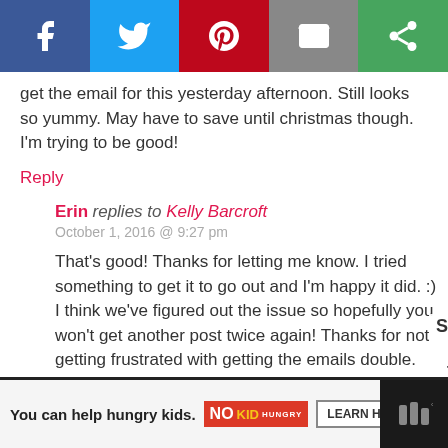[Figure (other): Social share bar with Facebook, Twitter, Pinterest, Email, and another share button icons]
get the email for this yesterday afternoon. Still looks so yummy. May have to save until christmas though. I'm trying to be good!
Reply
Erin replies to Kelly Barcroft
October 1, 2016 @ 9:27 pm
That's good! Thanks for letting me know. I tried something to get it to go out and I'm happy it did. :) I think we've figured out the issue so hopefully you won't get another post twice again! Thanks for not getting frustra with getting the emails double.
[Figure (other): Advertisement banner: You can help hungry kids. No Kid Hungry. Learn How.]